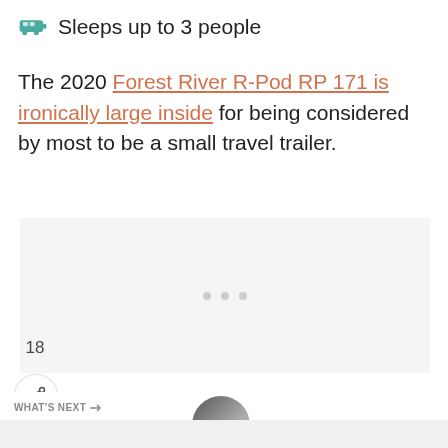Sleeps up to 3 people
The 2020 Forest River R-Pod RP 171 is ironically large inside for being considered by most to be a small travel trailer.
[Figure (other): Advertisement placeholder box with three gray dots]
[Figure (other): Heart/like button (teal circle with heart icon), like count 18, share button]
WHAT'S NEXT → 4 Best A-Frame...
[Figure (photo): Thumbnail image of A-Frame trailer, circular crop]